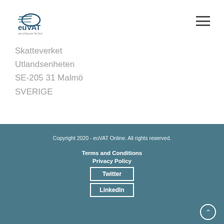[Figure (logo): euVAT logo with swoosh lines and text 'euVAT' and tagline below]
Skatteverket
Utlandsenheten
SE-205 31 Malmö
SVERIGE
Copyright 2020 - euVAT Online. All rights reserved.
Terms and Conditions
Privacy Policy
Twitter
LinkedIn